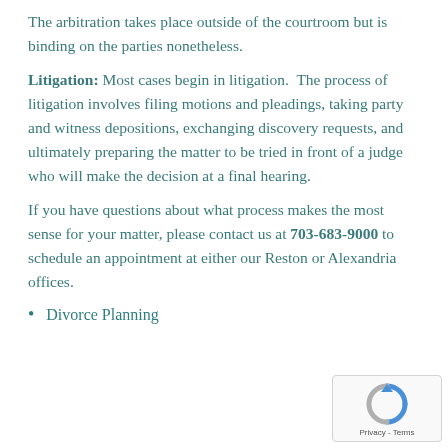The arbitration takes place outside of the courtroom but is binding on the parties nonetheless.
Litigation: Most cases begin in litigation. The process of litigation involves filing motions and pleadings, taking party and witness depositions, exchanging discovery requests, and ultimately preparing the matter to be tried in front of a judge who will make the decision at a final hearing.
If you have questions about what process makes the most sense for your matter, please contact us at 703-683-9000 to schedule an appointment at either our Reston or Alexandria offices.
Divorce Planning
[Figure (logo): reCAPTCHA Privacy - Terms badge in lower right corner]